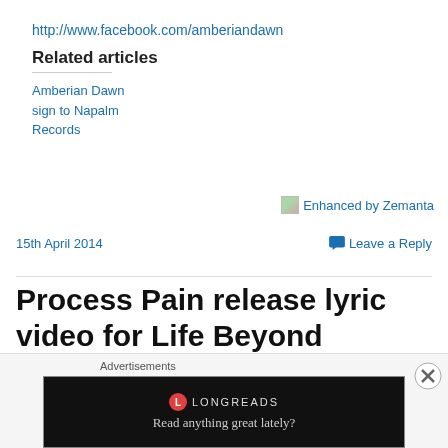http://www.facebook.com/amberiandawn
Related articles
Amberian Dawn sign to Napalm Records
[Figure (other): Enhanced by Zemanta image/logo with text link]
15th April 2014
Leave a Reply
Process Pain release lyric video for Life Beyond Reasons
Advertisements
[Figure (other): Longreads advertisement banner: Read anything great lately?]